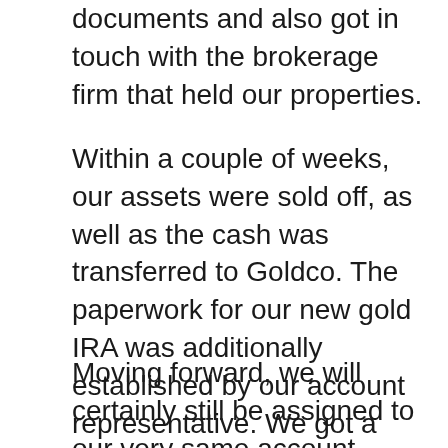documents and also got in touch with the brokerage firm that held our properties.
Within a couple of weeks, our assets were sold off, as well as the cash was transferred to Goldco. The paperwork for our new gold IRA was additionally established by our account representative. We got a really reasonable price for our brand-new gold and also received proof it was being held securely as well as firmly at our custodian facility.
Moving forward, we will certainly still be assigned to our very same account representative in case we desire to acquire more gold or liquidate our gold if we need it. The entire procedure was straightforward